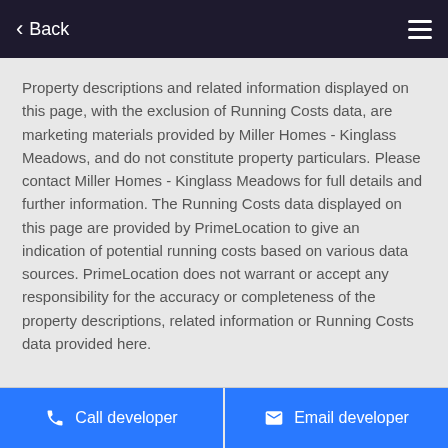Back
Property descriptions and related information displayed on this page, with the exclusion of Running Costs data, are marketing materials provided by Miller Homes - Kinglass Meadows, and do not constitute property particulars. Please contact Miller Homes - Kinglass Meadows for full details and further information. The Running Costs data displayed on this page are provided by PrimeLocation to give an indication of potential running costs based on various data sources. PrimeLocation does not warrant or accept any responsibility for the accuracy or completeness of the property descriptions, related information or Running Costs data provided here.
PrimeLocation > New homes for sale > Falkirk > Bo'ness > Borrowstoun > Muirend Court > Detached house for sale - 4 bedrooms